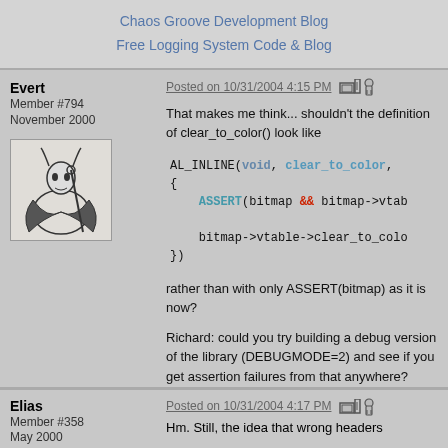Chaos Groove Development Blog
Free Logging System Code & Blog
Evert
Member #794
November 2000
Posted on 10/31/2004 4:15 PM
That makes me think... shouldn't the definition of clear_to_color() look like
rather than with only ASSERT(bitmap) as it is now?
Richard: could you try building a debug version of the library (DEBUGMODE=2) and see if you get assertion failures from that anywhere?
Elias
Member #358
May 2000
Posted on 10/31/2004 4:17 PM
Hm. Still, the idea that wrong headers